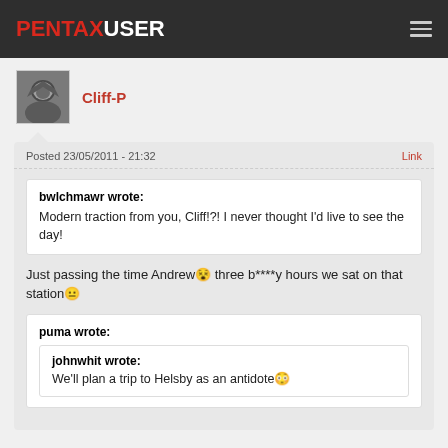PENTAXUSER
Cliff-P
Posted 23/05/2011 - 21:32
Link
bwlchmawr wrote:
Modern traction from you, Cliff!?! I never thought I'd live to see the day!
Just passing the time Andrew three b****y hours we sat on that station
puma wrote:
johnwhit wrote:
We'll plan a trip to Helsby as an antidote